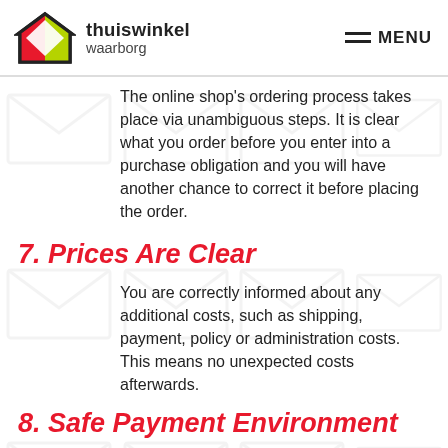thuiswinkel waarborg | MENU
The online shop's ordering process takes place via unambiguous steps. It is clear what you order before you enter into a purchase obligation and you will have another chance to correct it before placing the order.
7. Prices Are Clear
You are correctly informed about any additional costs, such as shipping, payment, policy or administration costs. This means no unexpected costs afterwards.
8. Safe Payment Environment
When you make a payment in an online shop, this will always take place through a secured connection with